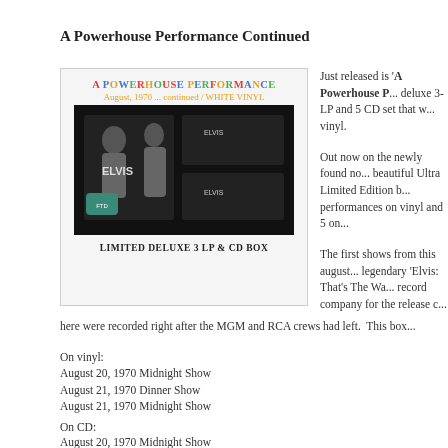A Powerhouse Performance Continued
[Figure (photo): Album cover box set for 'A Powerhouse Performance - August, 1970 ... continued / WHITE VINYL'. Shows colorful title text at top, black and white photos of Elvis performing, with label at bottom reading 'LIMITED DELUXE 3 LP & CD BOX'.]
Just released is 'A Powerhouse P... deluxe 3-LP and 5 CD set that w... vinyl.
Out now on the newly found no... beautiful Ultra Limited Edition b... performances on vinyl and 5 on...
The first shows from this august... legendary 'Elvis: That's The Wa... record company for the release c... here were recorded right after the MGM and RCA crews had left. This box...
On vinyl:
August 20, 1970 Midnight Show
August 21, 1970 Dinner Show
August 21, 1970 Midnight Show
On CD:
August 20, 1970 Midnight Show
August 21, 1970 Dinner Show